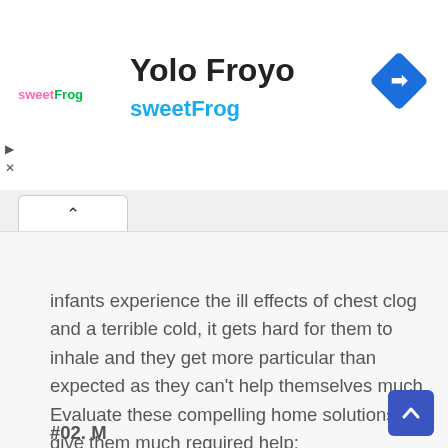[Figure (logo): sweetFrog logo with pink and green text, followed by brand name Yolo Froyo and sweetFrog subtitle in blue, with a blue navigation diamond arrow on the right]
infants experience the ill effects of chest clog and a terrible cold, it gets hard for them to inhale and they get more particular than expected as they can't help themselves much. Evaluate these compelling home solutions for give them much required help: